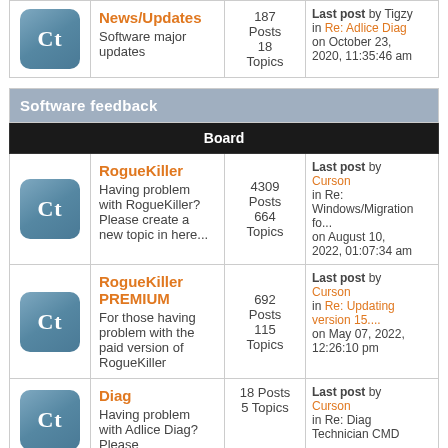| Icon | Board | Stats | Last Post |
| --- | --- | --- | --- |
| Ct | News/Updates
Software major updates | 187 Posts
18 Topics | Last post by Tigzy
in Re: Adlice Diag
on October 23, 2020, 11:35:46 am |
Software feedback
| Board |
| --- |
| Ct | RogueKiller
Having problem with RogueKiller? Please create a new topic in here... | 4309 Posts
664 Topics | Last post by Curson
in Re: Windows/Migration fo...
on August 10, 2022, 01:07:34 am |
| Ct | RogueKiller PREMIUM
For those having problem with the paid version of RogueKiller | 692 Posts
115 Topics | Last post by Curson
in Re: Updating version 15....
on May 07, 2022, 12:26:10 pm |
| Ct | Diag
Having problem with Adlice Diag? Please... | 18 Posts
5 Topics | Last post by Curson
in Re: Diag Technician CMD |